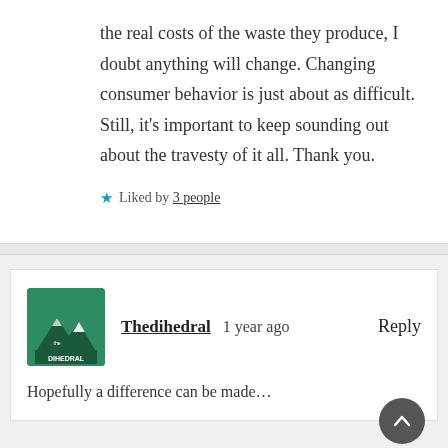the real costs of the waste they produce, I doubt anything will change. Changing consumer behavior is just about as difficult. Still, it’s important to keep sounding out about the travesty of it all. Thank you.
★ Liked by 3 people
Thedihedral   1 year ago   Reply
Hopefully a difference can be made…